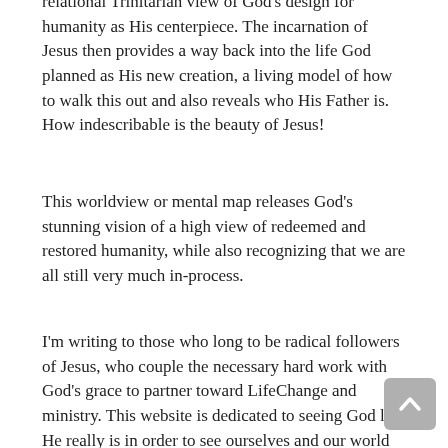relational Trinitarian view of God's design for humanity as His centerpiece. The incarnation of Jesus then provides a way back into the life God planned as His new creation, a living model of how to walk this out and also reveals who His Father is. How indescribable is the beauty of Jesus!
This worldview or mental map releases God's stunning vision of a high view of redeemed and restored humanity, while also recognizing that we are all still very much in-process.
I'm writing to those who long to be radical followers of Jesus, who couple the necessary hard work with God's grace to partner toward LifeChange and ministry. This website is dedicated to seeing God like He really is in order to see ourselves and our world the way God sees. God is always active and involved in His creation since this world is the theater of His glory. He simply invites us to join with Him in His epic adventure through